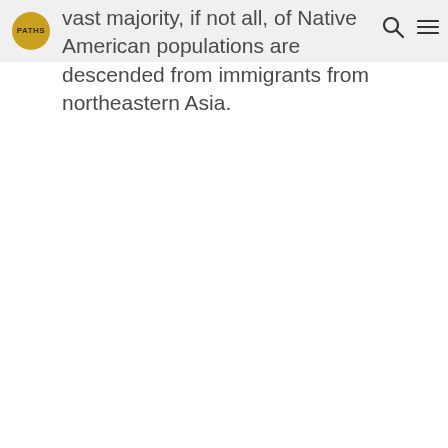PATHS logo, search icon, menu icon
vast majority, if not all, of Native American populations are descended from immigrants from northeastern Asia.